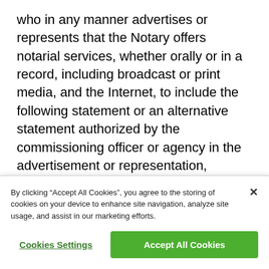who in any manner advertises or represents that the Notary offers notarial services, whether orally or in a record, including broadcast or print media, and the Internet, to include the following statement or an alternative statement authorized by the commissioning officer or agency in the advertisement or representation, prominently and in each language used in the advertisement or representation: “I am not an attorney licensed to practice law in this state. I am not allowed to draft legal records, give advice on legal matters, including immigration
By clicking “Accept All Cookies”, you agree to the storing of cookies on your device to enhance site navigation, analyze site usage, and assist in our marketing efforts.
Cookies Settings
Accept All Cookies